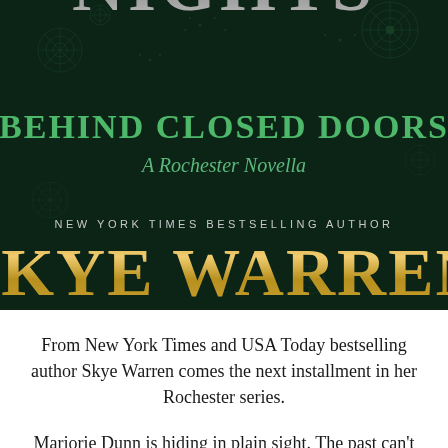[Figure (illustration): Book cover image for 'Nights Behind Closed Doors: A Rochester Novella' by Skye Warren. Dark green background with ornate snowflake/mandala patterns. Text at top shows partial title 'NIGHTS' in large silver letters. Green text reads 'BEHIND CLOSED DOORS' with italic subtitle 'A Rochester Novella'. Author credit 'NEW YORK TIMES BESTSELLING AUTHOR' in small spaced caps, followed by large gold/bronze text 'SKYE WARREN'.]
From New York Times and USA Today bestselling author Skye Warren comes the next installment in her Rochester series.
Marjorie Dunn is hiding in plain sight. The past can't find her at the peaceful inn she owns in a quiet